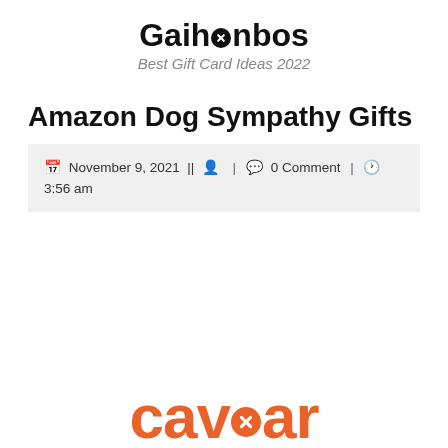Gaihanbos — Best Gift Card Ideas 2022
Amazon Dog Sympathy Gifts
November 9, 2021 || [user icon] | [comment icon] 0 Comment | [clock icon] 3:56 am
[Figure (logo): Caviar logo in orange with a circled X replacing the letter 'o']